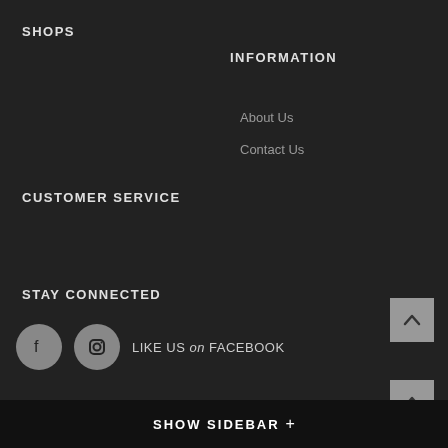SHOPS
INFORMATION
About Us
Contact Us
CUSTOMER SERVICE
STAY CONNECTED
[Figure (illustration): Facebook and Instagram circular social media icons, followed by text LIKE US on FACEBOOK]
© 2017 Vegan, What? Apparel . All Rights Reserved. Design by Nuvisionz Business Solutions.
SHOW SIDEBAR +